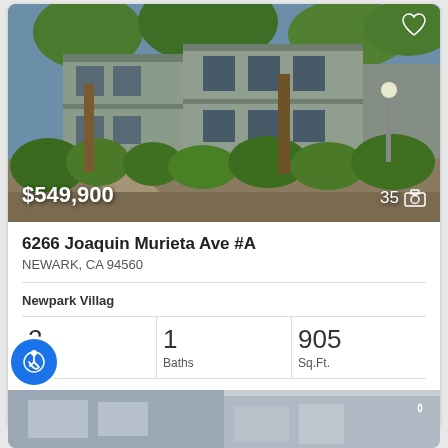[Figure (photo): Exterior photo of a two-story apartment/condo building with trees and landscaped bushes in front, showing a walkway. Price overlay '$549,900' at bottom left and photo count '35' with camera icon at bottom right.]
$549,900
35
6266 Joaquin Murieta Ave #A
NEWARK, CA 94560
Newpark Villag
2
Beds
1
Baths
905
Sq.Ft.
Coldwell Banker Realty
[Figure (photo): Partial interior photo at bottom left]
[Figure (photo): Partial interior photo at bottom right with heart icon]